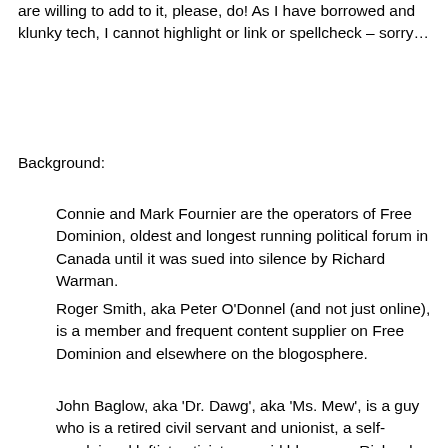are willing to add to it, please, do! As I have borrowed and klunky tech, I cannot highlight or link or spellcheck – sorry…
Background:
Connie and Mark Fournier are the operators of Free Dominion, oldest and longest running political forum in Canada until it was sued into silence by Richard Warman.
Roger Smith, aka Peter O'Donnel (and not just online), is a member and frequent content supplier on Free Dominion and elsewhere on the blogosphere.
John Baglow, aka 'Dr. Dawg', aka 'Ms. Mew', is a guy who is a retired civil servant and unionist, a self-proclaimed leftist activist, an avid blogger, a Richard